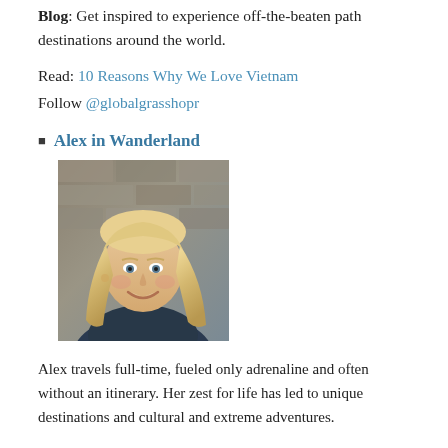Blog: Get inspired to experience off-the-beaten path destinations around the world.
Read: 10 Reasons Why We Love Vietnam
Follow @globalgrasshopr
Alex in Wanderland
[Figure (photo): Portrait photo of a smiling blonde woman in front of a stone/brick wall background, wearing a dark top.]
Alex travels full-time, fueled only adrenaline and often without an itinerary. Her zest for life has led to unique destinations and cultural and extreme adventures.